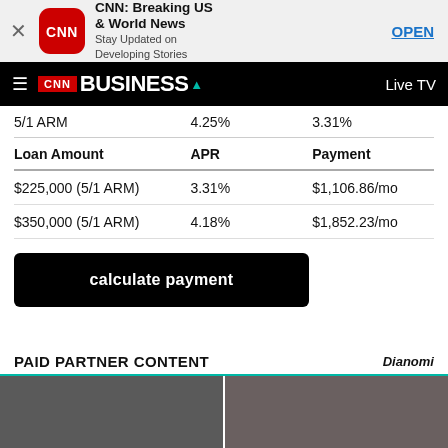[Figure (screenshot): CNN Breaking US & World News app advertisement banner with app icon, title, subtitle 'Stay Updated on Developing Stories', and OPEN button]
CNN BUSINESS — Live TV
| 5/1 ARM | 4.25% | 3.31% |
| --- | --- | --- |
| Loan Amount | APR | Payment |
| $225,000 (5/1 ARM) | 3.31% | $1,106.86/mo |
| $350,000 (5/1 ARM) | 4.18% | $1,852.23/mo |
calculate payment
PAID PARTNER CONTENT
Dianomi
[Figure (photo): Two thumbnail images of people for paid partner content articles]